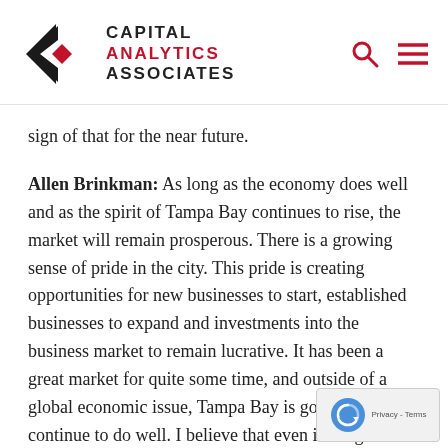Capital Analytics Associates
sign of that for the near future.
Allen Brinkman: As long as the economy does well and as the spirit of Tampa Bay continues to rise, the market will remain prosperous. There is a growing sense of pride in the city. This pride is creating opportunities for new businesses to start, established businesses to expand and investments into the business market to remain lucrative. It has been a great market for quite some time, and outside of a global economic issue, Tampa Bay is going to continue to do well. I believe that even if the global economy slows down, Tampa Bay is somewhat insulated because it is a place that people want to be, for both a younger and older demographic. There is almost nowhere else in Florida that is as cost-effective, bea and offers as many cultural and economic opportunities